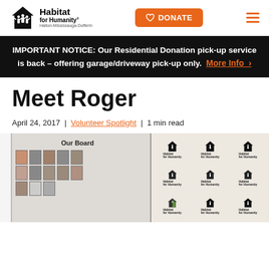Habitat for Humanity Halton-Mississauga-Dufferin | DONATE | Menu
IMPORTANT NOTICE: Our Residential Donation pick-up service is back – offering garage/driveway pick-up only. More Info >
Meet Roger
April 24, 2017 | Volunteer Spotlight | 1 min read
[Figure (photo): Left panel shows an 'Our Board' display wall with framed headshots arranged in a grid. Right panel shows a Habitat for Humanity branded step-and-repeat banner backdrop with multiple logos.]